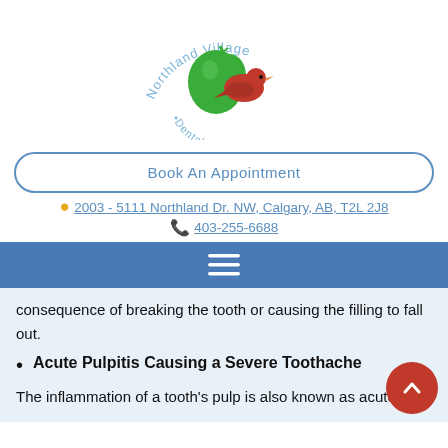[Figure (logo): Northland Village Dental Centre logo with green apple/pepper and red cardinal bird, text arched around top and bottom]
Book An Appointment
2003 - 5111 Northland Dr. NW, Calgary, AB, T2L 2J8
403-255-6688
[Figure (other): Blue navigation bar with hamburger menu icon (three horizontal white lines)]
consequence of breaking the tooth or causing the filling to fall out.
Acute Pulpitis Causing a Severe Toothache
The inflammation of a tooth's pulp is also known as acute